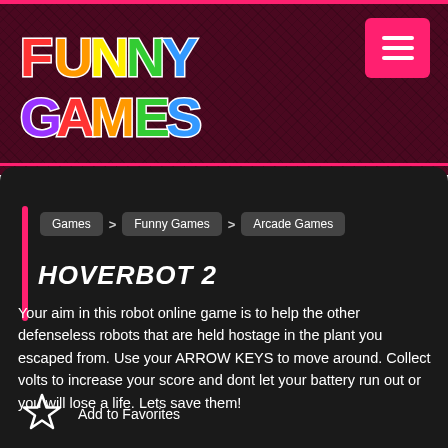[Figure (logo): Funny Games logo with colorful bubble letters on dark maroon textured background]
HOVERBOT 2
Games > Funny Games > Arcade Games
Your aim in this robot online game is to help the other defenseless robots that are held hostage in the plant you escaped from. Use your ARROW KEYS to move around. Collect volts to increase your score and dont let your battery run out or you will lose a life. Lets save them!
Add to Favorites